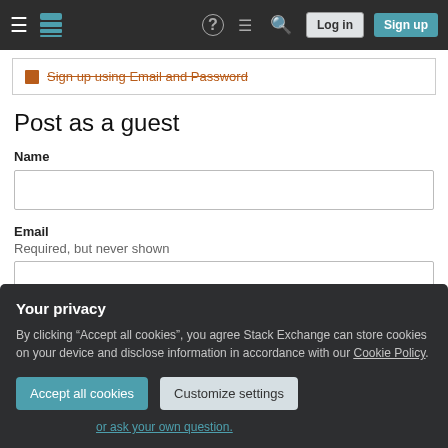Stack Exchange — Log in / Sign up navigation bar
Sign up using Email and Password
Post as a guest
Name
Email
Required, but never shown
Your privacy
By clicking "Accept all cookies", you agree Stack Exchange can store cookies on your device and disclose information in accordance with our Cookie Policy.
Accept all cookies
Customize settings